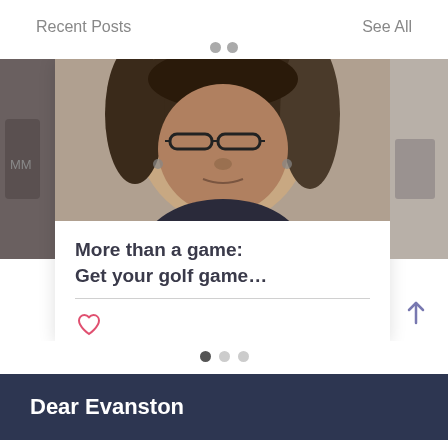Recent Posts    See All
[Figure (photo): Carousel of recent posts. Center card shows a photo of a woman with dreadlocks and glasses. Left and right edges show partial adjacent cards.]
More than a game: Get your golf game…
♡
Dear Evanston